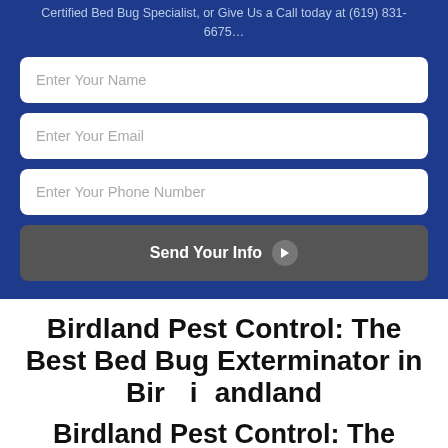Certified Bed Bug Specialist, or Give Us a Call today at (619) 831-6675…
[Figure (screenshot): Contact form with fields: Enter Your Name, Enter Your Email, Enter Your Phone Number, and a Send Your Info button with arrow icon, on a dark blue background]
Birdland Pest Control: The Best Bed Bug Exterminator in Birdland
We're a locally owned, superior pest
[Figure (illustration): Chat widget with close button, 'Hi, Can I Help?' speech bubble, and avatar of bearded man with glasses on orange circle with green online indicator dot]